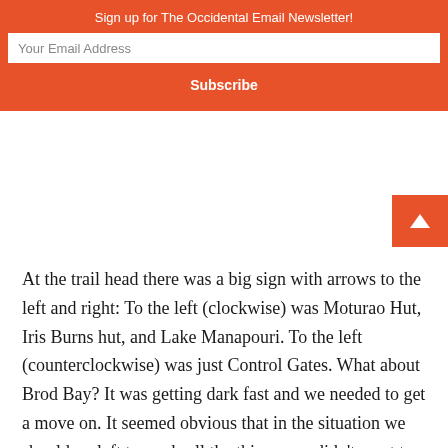Sign up for The Occidental Email Newsletter!
Your Email Address
Subscribe
At the trail head there was a big sign with arrows to the left and right: To the left (clockwise) was Moturao Hut, Iris Burns hut, and Lake Manapouri. To the left (counterclockwise) was just Control Gates. What about Brod Bay? It was getting dark fast and we needed to get a move on. It seemed obvious that in the situation we should go left towards all the things; we didn’t want to go to the Control Gates right? So we started walking left, to our doom.